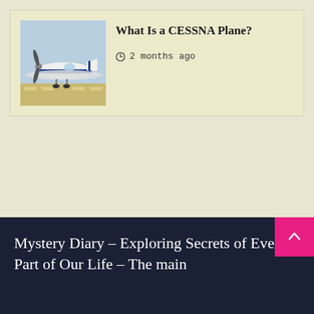[Figure (photo): Photo of a Cessna plane on tarmac, blue and white aircraft with propeller visible, parked at airport]
What Is a CESSNA Plane?
2 months ago
Mystery Diary – Exploring Secrets of Every Part of Our Life – The main